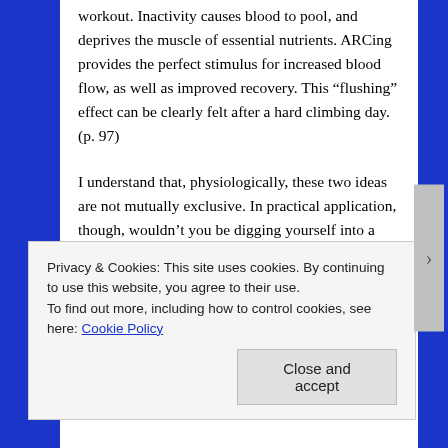workout. Inactivity causes blood to pool, and deprives the muscle of essential nutrients. ARCing provides the perfect stimulus for increased blood flow, as well as improved recovery. This “flushing” effect can be clearly felt after a hard climbing day. (p. 97)
I understand that, physiologically, these two ideas are not mutually exclusive. In practical application, though, wouldn’t you be digging yourself into a deeper hole by ARCing for recovery? I’ve personally never been able to do it; when I do, I feel like it takes me double the amount of rest time before I can come back to form. Can you achieve the same blood flushing effect through massage (e.g. with an Armaid or similar device) or with light stretching?
Privacy & Cookies: This site uses cookies. By continuing to use this website, you agree to their use. To find out more, including how to control cookies, see here: Cookie Policy
Close and accept